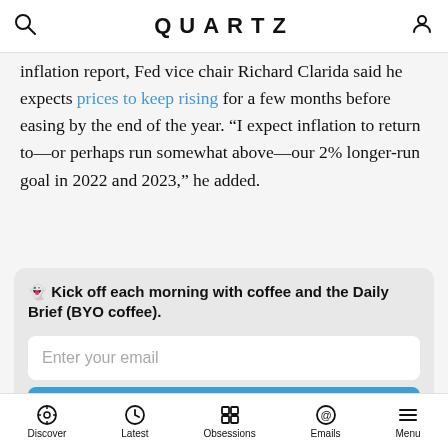QUARTZ
inflation report, Fed vice chair Richard Clarida said he expects prices to keep rising for a few months before easing by the end of the year. “I expect inflation to return to—or perhaps run somewhat above—our 2% longer-run goal in 2022 and 2023,” he added.
👻 Kick off each morning with coffee and the Daily Brief (BYO coffee).
Enter your email
Sign me up
By providing your email, you agree to the Quartz Privacy Policy.
Discover  Latest  Obsessions  Emails  Menu